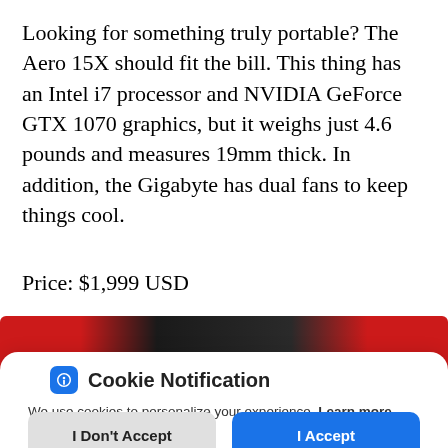Looking for something truly portable? The Aero 15X should fit the bill. This thing has an Intel i7 processor and NVIDIA GeForce GTX 1070 graphics, but it weighs just 4.6 pounds and measures 19mm thick. In addition, the Gigabyte has dual fans to keep things cool.
Price: $1,999 USD
[Figure (photo): Partial view of a laptop with red and black coloring]
Cookie Notification
We use cookies to personalize your experience. Learn more here.